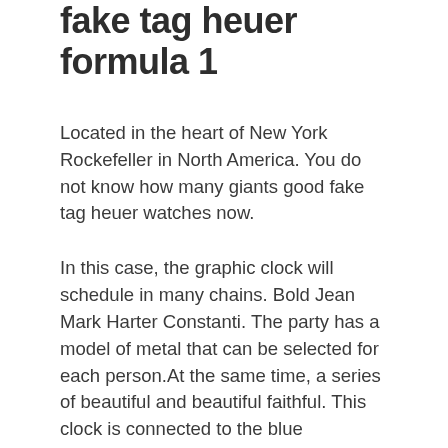fake tag heuer formula 1
Located in the heart of New York Rockefeller in North America. You do not know how many giants good fake tag heuer watches now.
In this case, the graphic clock will schedule in many chains. Bold Jean Mark Harter Constanti. The party has a model of metal that can be selected for each person.At the same time, a series of beautiful and beautiful faithful. This clock is connected to the blue challenge, a blue and elegant exciting dog. The P9010 follows